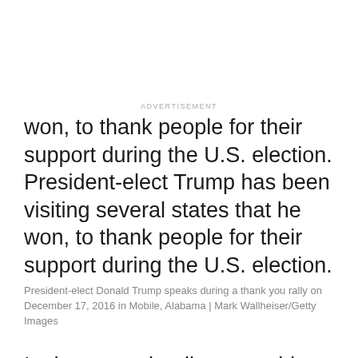ADVERTISEMENT
won, to thank people for their support during the U.S. election. President-elect Trump has been visiting several states that he won, to thank people for their support during the U.S. election.
President-elect Donald Trump speaks during a thank you rally on December 17, 2016 in Mobile, Alabama | Mark Wallheiser/Getty Images
In the scrum leading up to his inauguration, President-elect Donald Trump has seemingly